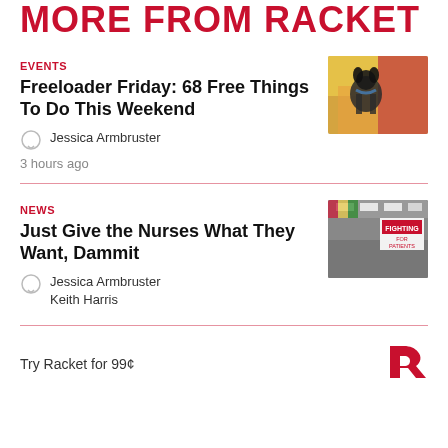MORE FROM RACKET
EVENTS
Freeloader Friday: 68 Free Things To Do This Weekend
Jessica Armbruster
3 hours ago
[Figure (photo): Photo of a dog wearing a bandana, in front of colorful background]
NEWS
Just Give the Nurses What They Want, Dammit
Jessica Armbruster
Keith Harris
[Figure (photo): Interior photo of a building with a sign reading FIGHTING FOR PATIENTS]
Try Racket for 99¢
[Figure (logo): Racket logo - stylized R in red]